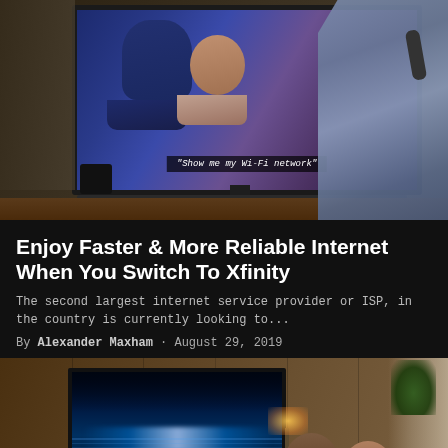[Figure (photo): Person holding TV remote pointing at Samsung television screen showing a drama scene with subtitle text 'Show me my Wi-Fi network']
Enjoy Faster & More Reliable Internet When You Switch To Xfinity
The second largest internet service provider or ISP, in the country is currently looking to...
By Alexander Maxham · August 29, 2019
[Figure (photo): Two people sitting on a couch watching a large TV with a scenic ocean/landscape display in a warmly lit wood-paneled room with a lamp and plant]